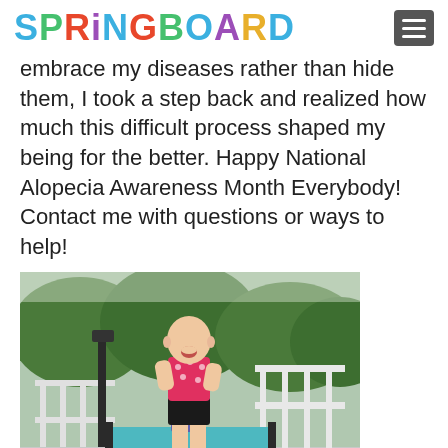SPRINGBOARD
embrace my diseases rather than hide them, I took a step back and realized how much this difficult process shaped my being for the better. Happy National Alopecia Awareness Month Everybody! Contact me with questions or ways to help!
[Figure (photo): A young girl with no hair wearing a red/pink polka-dot swimsuit top and black bottoms, standing on a diving board or platform at an outdoor pool facility. There are white railings visible, a teal/blue diving board, green trees in the background, and another child visible behind her.]